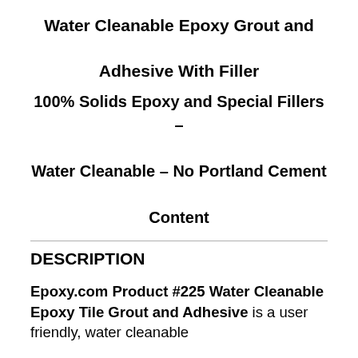Water Cleanable Epoxy Grout and Adhesive With Filler
100% Solids Epoxy and Special Fillers – Water Cleanable – No Portland Cement Content
DESCRIPTION
Epoxy.com Product #225 Water Cleanable Epoxy Tile Grout and Adhesive is a user friendly, water cleanable